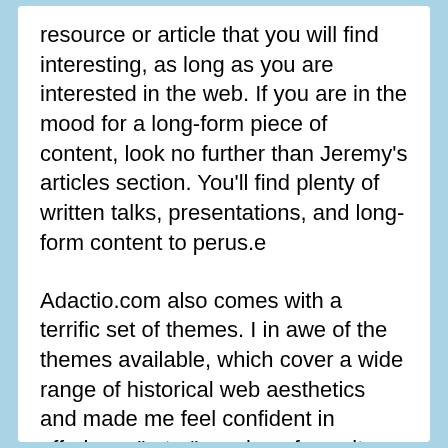resource or article that you will find interesting, as long as you are interested in the web. If you are in the mood for a long-form piece of content, look no further than Jeremy's articles section. You'll find plenty of written talks, presentations, and long-form content to perus.e
Adactio.com also comes with a terrific set of themes. I in awe of the themes available, which cover a wide range of historical web aesthetics and made me feel confident in offering a "retro" version of my site.
If you're looking for a place to start on Adactio.com, I would recommend: